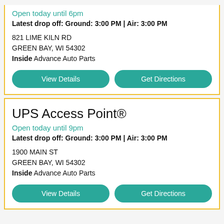Open today until 6pm
Latest drop off: Ground: 3:00 PM | Air: 3:00 PM
821 LIME KILN RD
GREEN BAY, WI 54302
Inside Advance Auto Parts
View Details
Get Directions
UPS Access Point®
Open today until 9pm
Latest drop off: Ground: 3:00 PM | Air: 3:00 PM
1900 MAIN ST
GREEN BAY, WI 54302
Inside Advance Auto Parts
View Details
Get Directions